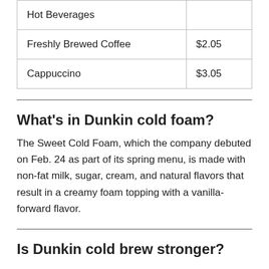| Hot Beverages |  |
| Freshly Brewed Coffee | $2.05 |
| Cappuccino | $3.05 |
What's in Dunkin cold foam?
The Sweet Cold Foam, which the company debuted on Feb. 24 as part of its spring menu, is made with non-fat milk, sugar, cream, and natural flavors that result in a creamy foam topping with a vanilla-forward flavor.
Is Dunkin cold brew stronger?